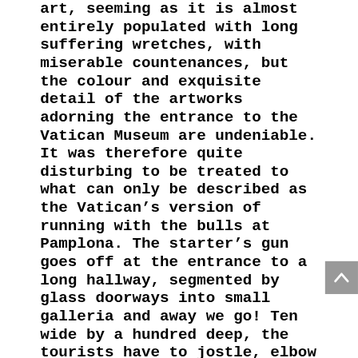art, seeming as it is almost entirely populated with long suffering wretches, with miserable countenances, but the colour and exquisite detail of the artworks adorning the entrance to the Vatican Museum are undeniable. It was therefore quite disturbing to be treated to what can only be described as the Vatican's version of running with the bulls at Pamplona. The starter's gun goes off at the entrance to a long hallway, segmented by glass doorways into small galleria and away we go! Ten wide by a hundred deep, the tourists have to jostle, elbow and generally jockey for position, all the while keeping a sharp eye out for laggards goggling and taking selfies, clearly oblivious to the obstacle they create. Months of travelling however, prepared us and in no time we were weaving in and out, sidestepping, feinting left and going right, until Ian attempting to perform a blind turn, bounced off a rather large heifer, eliciting a disapproving groan